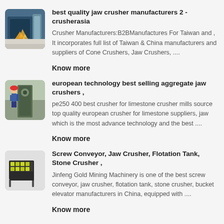[Figure (photo): Thumbnail of jaw crusher machinery with fire/sparks]
best quality jaw crusher manufacturers 2 - crusherasia
Crusher Manufacturers:B2BManufactures For Taiwan and , It incorporates full list of Taiwan & China manufacturers and suppliers of Cone Crushers, Jaw Crushers, ....
Know more
[Figure (photo): Thumbnail of worker operating industrial equipment]
european technology best selling aggregate jaw crushers ,
pe250 400 best crusher for limestone crusher mills source top quality european crusher for limestone suppliers, jaw which is the most advance technology and the best ....
Know more
[Figure (photo): Thumbnail of screw conveyor/jaw crusher equipment in yellow-green color]
Screw Conveyor, Jaw Crusher, Flotation Tank, Stone Crusher ,
Jinfeng Gold Mining Machinery is one of the best screw conveyor, jaw crusher, flotation tank, stone crusher, bucket elevator manufacturers in China, equipped with ....
Know more